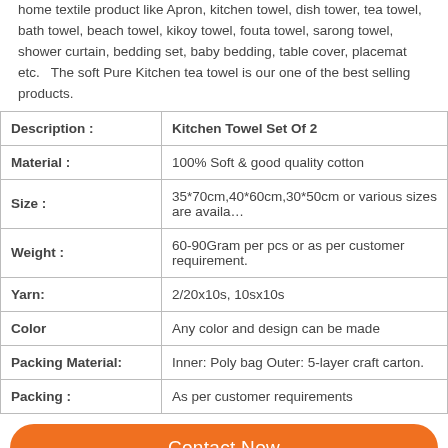home textile product like Apron, kitchen towel, dish tower, tea towel, bath towel, beach towel, kikoy towel, fouta towel, sarong towel, shower curtain, bedding set, baby bedding, table cover, placemat etc.   The soft Pure Kitchen tea towel is our one of the best selling products.
| Description : | Kitchen Towel Set Of 2 |
| --- | --- |
| Material : | 100% Soft & good quality cotton |
| Size : | 35*70cm,40*60cm,30*50cm or various sizes are available |
| Weight : | 60-90Gram per pcs or as per customer requirement. |
| Yarn: | 2/20x10s, 10sx10s |
| Color | Any color and design can be made |
| Packing Material: | Inner: Poly bag Outer: 5-layer craft carton. |
| Packing : | As per customer requirements |
Contact Now
Home   Mail